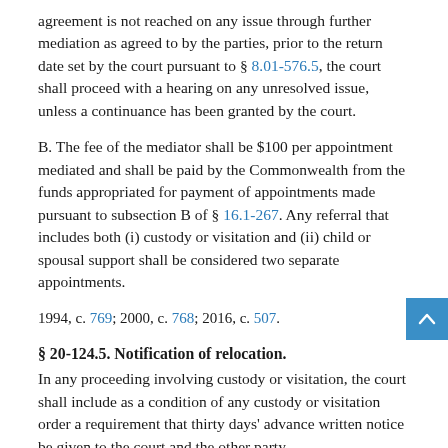agreement is not reached on any issue through further mediation as agreed to by the parties, prior to the return date set by the court pursuant to § 8.01-576.5, the court shall proceed with a hearing on any unresolved issue, unless a continuance has been granted by the court.
B. The fee of the mediator shall be $100 per appointment mediated and shall be paid by the Commonwealth from the funds appropriated for payment of appointments made pursuant to subsection B of § 16.1-267. Any referral that includes both (i) custody or visitation and (ii) child or spousal support shall be considered two separate appointments.
1994, c. 769; 2000, c. 768; 2016, c. 507.
§ 20-124.5. Notification of relocation.
In any proceeding involving custody or visitation, the court shall include as a condition of any custody or visitation order a requirement that thirty days' advance written notice be given to the court and the other party